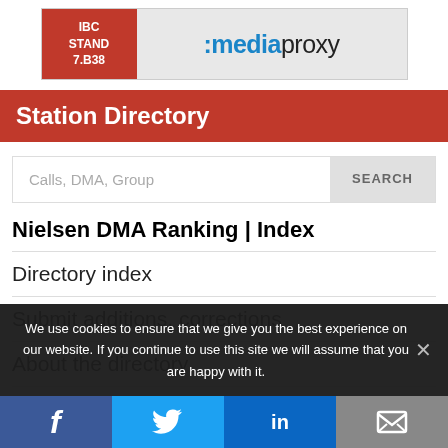[Figure (logo): IBC Stand 7.B38 advertisement banner with mediaproxy logo]
Station Directory
[Figure (screenshot): Search input field with placeholder text 'Calls, DMA, Group' and SEARCH button]
Nielsen DMA Ranking | Index
Directory index
Submit additions, corrections
About the directory
We use cookies to ensure that we give you the best experience on our website. If you continue to use this site we will assume that you are happy with it.
[Figure (infographic): Social media share bar with Facebook, Twitter, LinkedIn, and email buttons]